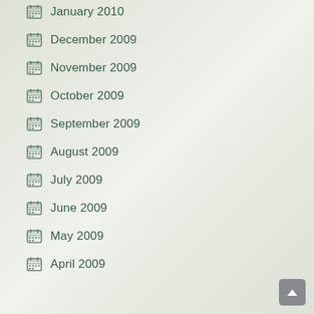January 2010
December 2009
November 2009
October 2009
September 2009
August 2009
July 2009
June 2009
May 2009
April 2009